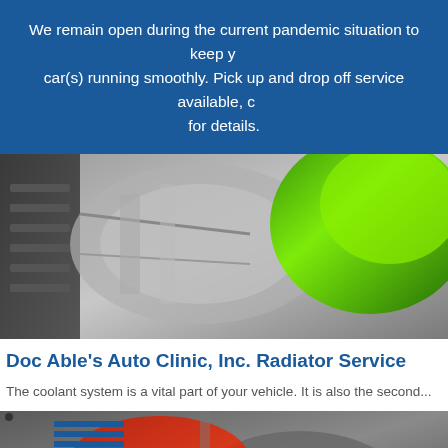We remain open during the current pandemic situation to keep your car(s) running smoothly. Pick up and drop off service available, call for details.
[Figure (photo): Close-up photo of a car radiator/coolant system with green coolant fluid visible]
Doc Able’s Auto Clinic, Inc. Radiator Service
The coolant system is a vital part of your vehicle. It is also the second...
[Figure (photo): Person wearing red gloves working on a car brake or mechanical component]